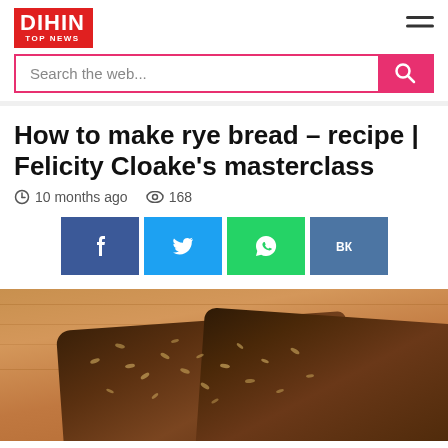DIHIN TOP NEWS
How to make rye bread – recipe | Felicity Cloake's masterclass
10 months ago  168
[Figure (photo): Slices of dark rye bread with seeds on a wooden cutting board]
How to make rye bread – recipe | Felicity Cloake's masterclass